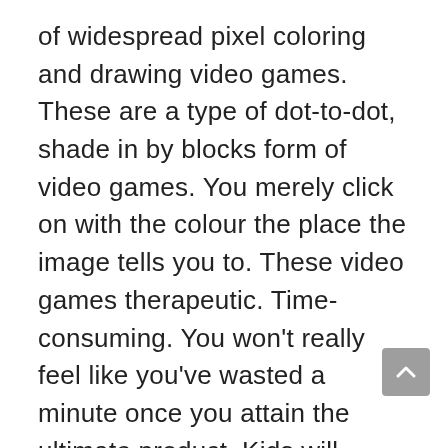of widespread pixel coloring and drawing video games. These are a type of dot-to-dot, shade in by blocks form of video games. You merely click on with the colour the place the image tells you to. These video games therapeutic. Time-consuming. You won't really feel like you've wasted a minute once you attain the ultimate product. Kids will simply love these video games, as watching the picture come collectively pixel by pixel is probably the most satisfying components of free on-line video games we've ever skilled – and we're a bunch of huge youngsters! These video games mix a love of difficult